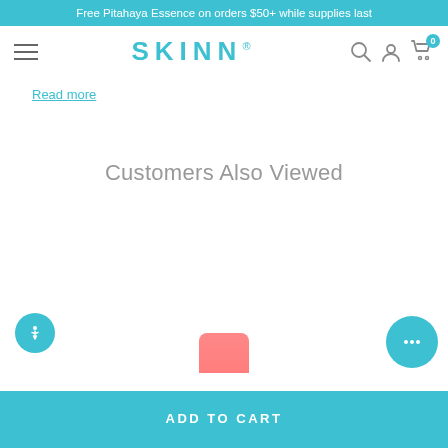Free Pitahaya Essence on orders $50+ while supplies last
[Figure (screenshot): SKINN brand navigation bar with hamburger menu, SKINN logo in teal, search icon, user icon, and cart icon with 0 badge]
Read more
Customers Also Viewed
[Figure (illustration): Accessibility icon button (teal circle with person figure)]
[Figure (illustration): Chat button (teal circle with ellipsis/dots)]
ADD TO CART